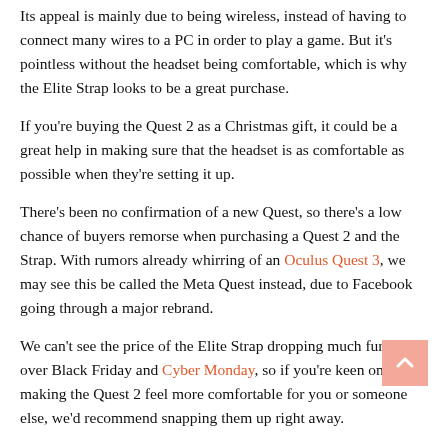Its appeal is mainly due to being wireless, instead of having to connect many wires to a PC in order to play a game. But it's pointless without the headset being comfortable, which is why the Elite Strap looks to be a great purchase.
If you're buying the Quest 2 as a Christmas gift, it could be a great help in making sure that the headset is as comfortable as possible when they're setting it up.
There's been no confirmation of a new Quest, so there's a low chance of buyers remorse when purchasing a Quest 2 and the Strap. With rumors already whirring of an Oculus Quest 3, we may see this be called the Meta Quest instead, due to Facebook going through a major rebrand.
We can't see the price of the Elite Strap dropping much further over Black Friday and Cyber Monday, so if you're keen on making the Quest 2 feel more comfortable for you or someone else, we'd recommend snapping them up right away.
More Oculus Quest 2 deals
No matter where you live, you'll find all the lowest prices for